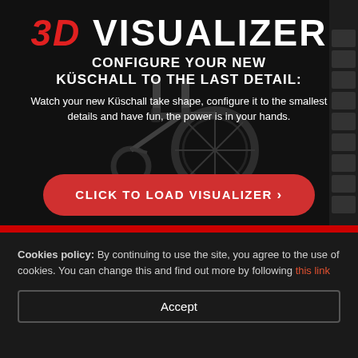[Figure (screenshot): 3D Visualizer web page screenshot showing a wheelchair configurator with a dark background, a wheelchair image, a red 'CLICK TO LOAD VISUALIZER' button, and menu sidebar on the right]
3D VISUALIZER
CONFIGURE YOUR NEW KÜSCHALL TO THE LAST DETAIL:
Watch your new Küschall take shape, configure it to the smallest details and have fun, the power is in your hands.
CLICK TO LOAD VISUALIZER ›
Cookies policy: By continuing to use the site, you agree to the use of cookies. You can change this and find out more by following this link
Accept